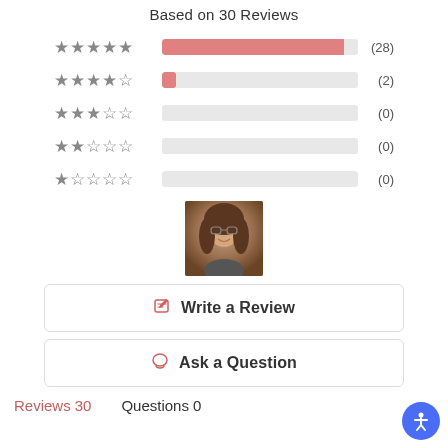Based on 30 Reviews
[Figure (bar-chart): Rating distribution]
[Figure (photo): User profile photo of a person with curly hair and glasses, smiling]
Write a Review
Ask a Question
Reviews 30   Questions 0